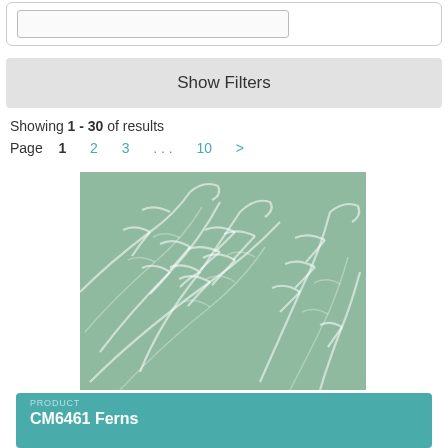Show Filters
Showing 1 - 30 of results
Page  1  2  3  . . .  10  >
[Figure (photo): Green fern leaf pattern fabric swatch (CM6461 Ferns)]
PRODUCT
CM6461 Ferns